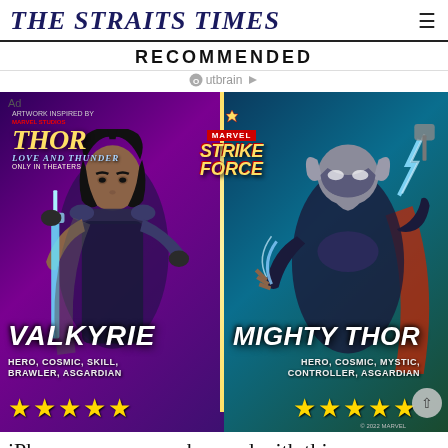THE STRAITS TIMES
RECOMMENDED
Outbrain
[Figure (photo): Marvel Strike Force advertisement featuring Valkyrie and Mighty Thor characters. Left panel shows Valkyrie with sword (HERO, COSMIC, SKILL, BRAWLER, ASGARDIAN) with 5 gold stars. Right panel shows Mighty Thor with lightning (HERO, COSMIC, MYSTIC, CONTROLLER, ASGARDIAN) with 5 gold stars. Thor: Love and Thunder and Marvel Strike Force logos visible. Ad label in top left.]
iPhone owners are obsessed with this